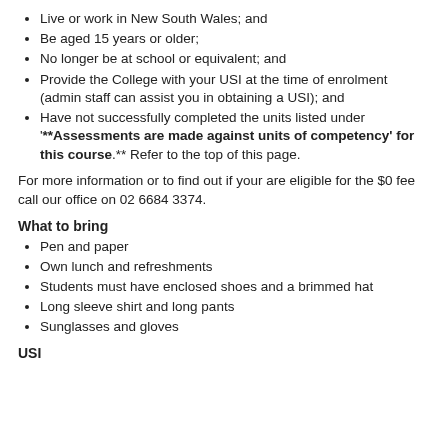Live or work in New South Wales; and
Be aged 15 years or older;
No longer be at school or equivalent; and
Provide the College with your USI at the time of enrolment (admin staff can assist you in obtaining a USI); and
Have not successfully completed the units listed under '**Assessments are made against units of competency' for this course.** Refer to the top of this page.
For more information or to find out if your are eligible for the $0 fee call our office on 02 6684 3374.
What to bring
Pen and paper
Own lunch and refreshments
Students must have enclosed shoes and a brimmed hat
Long sleeve shirt and long pants
Sunglasses and gloves
USI